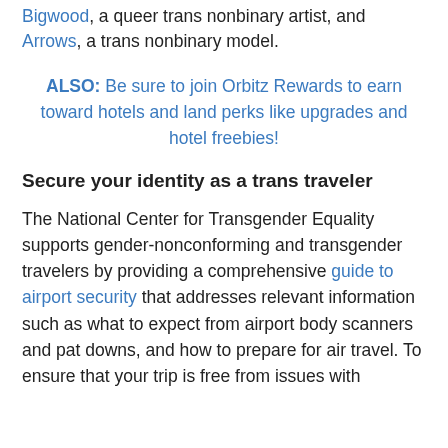Bigwood, a queer trans nonbinary artist, and Arrows, a trans nonbinary model.
ALSO: Be sure to join Orbitz Rewards to earn toward hotels and land perks like upgrades and hotel freebies!
Secure your identity as a trans traveler
The National Center for Transgender Equality supports gender-nonconforming and transgender travelers by providing a comprehensive guide to airport security that addresses relevant information such as what to expect from airport body scanners and pat downs, and how to prepare for air travel. To ensure that your trip is free from issues with